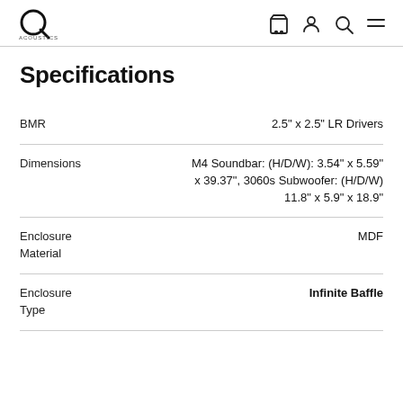Q Acoustics logo with cart, user, search, and menu icons
Specifications
|  |  |
| --- | --- |
| BMR | 2.5" x 2.5" LR Drivers |
| Dimensions | M4 Soundbar: (H/D/W): 3.54" x 5.59" x 39.37", 3060s Subwoofer: (H/D/W) 11.8" x 5.9" x 18.9" |
| Enclosure Material | MDF |
| Enclosure Type | Infinite Baffle |